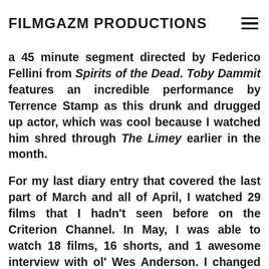FILMGAZM PRODUCTIONS
a 45 minute segment directed by Federico Fellini from Spirits of the Dead. Toby Dammit features an incredible performance by Terrence Stamp as this drunk and drugged up actor, which was cool because I watched him shred through The Limey earlier in the month.
For my last diary entry that covered the last part of March and all of April, I watched 29 films that I hadn't seen before on the Criterion Channel. In May, I was able to watch 18 films, 16 shorts, and 1 awesome interview with ol' Wes Anderson. I changed the pace up quite a bit compared to last month and I'll continue to watch films of all kinds from all nations. It's all about learning and experiencing new art, which brings me to my personal favorites and my highest recommendations to all film fans from May. Last month, I listed 5 films that blew my mind and have become personal favorites. I also listed 5 films